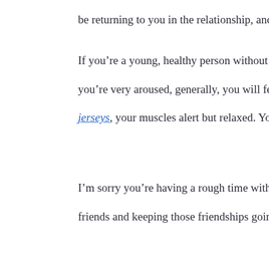be returning to you in the relationship, and making that cons...
If you’re a young, healthy person without any medical condit... you’re very aroused, generally, you will feel a bit flushed. Yo... jerseys, your muscles alert but relaxed. You may be breathing...
I’m sorry you’re having a rough time with this, Atonement. N... friends and keeping those friendships going so they get closer...
← She or he is the person who plans out how the resources of the
[Figure (other): Dark blue footer banner with faint italic text partially visible on the right side]